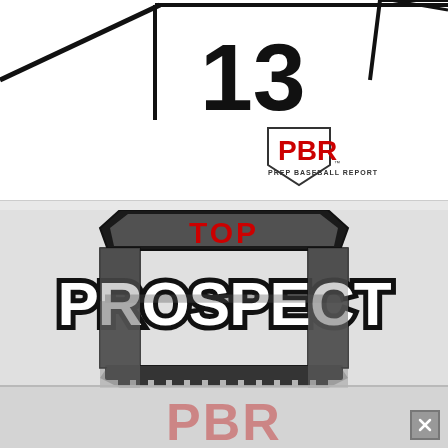[Figure (logo): PBR Prep Baseball Report logo with number 13, showing black diagonal lines on white background with PBR pentagon logo]
[Figure (logo): Top Prospect PBR badge logo with black shield/podium shape, red TOP text, white PROSPECT text with black outline, and gray/red PBR text at bottom, with reflection/shadow below]